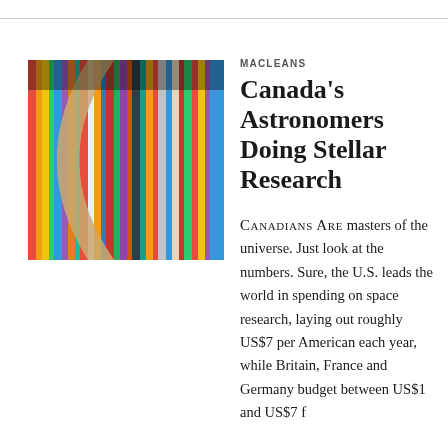[Figure (photo): Close-up photo of colorful books or folders on a shelf, with a curved wooden arc or handle in the foreground.]
MACLEANS
Canada's Astronomers Doing Stellar Research
CANADIANS ARE masters of the universe. Just look at the numbers. Sure, the U.S. leads the world in spending on space research, laying out roughly US$7 per American each year, while Britain, France and Germany budget between US$1 and US$7 f…